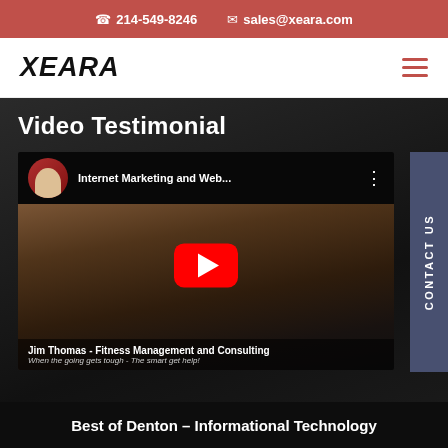📞 214-549-8246  ✉ sales@xeara.com
XEARA
Video Testimonial
[Figure (screenshot): YouTube video thumbnail showing a man in a dark suit being interviewed, with a play button overlay. Video title: 'Internet Marketing and Web...' Channel avatar shows a woman. Caption: Jim Thomas - Fitness Management and Consulting. When the going gets tough - The smart get help!]
CONTACT US
Best of Denton – Informational Technology